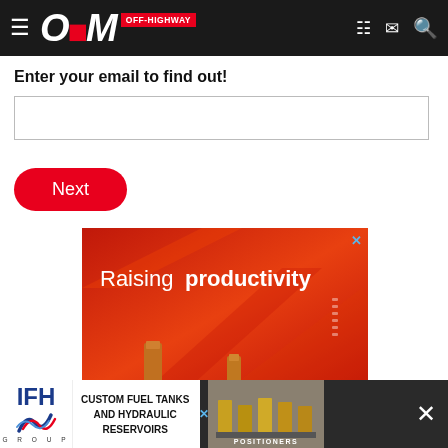OEM OFF-HIGHWAY
Enter your email to find out!
Next
[Figure (infographic): Red advertisement banner with text 'Raising productivity' on gradient red background with geometric shapes]
[Figure (infographic): IFH Group advertisement: CUSTOM FUEL TANKS AND HYDRAULIC RESERVOIRS with IFH logo on white background]